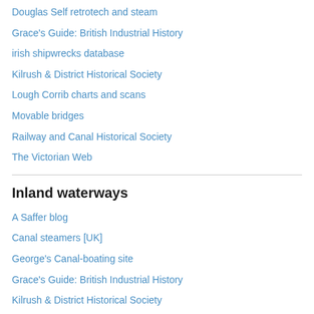Douglas Self retrotech and steam
Grace's Guide: British Industrial History
irish shipwrecks database
Kilrush & District Historical Society
Lough Corrib charts and scans
Movable bridges
Railway and Canal Historical Society
The Victorian Web
Inland waterways
A Saffer blog
Canal steamers [UK]
George's Canal-boating site
Grace's Guide: British Industrial History
Kilrush & District Historical Society
Lough Corrib charts and scans
Railway and Canal Historical Society